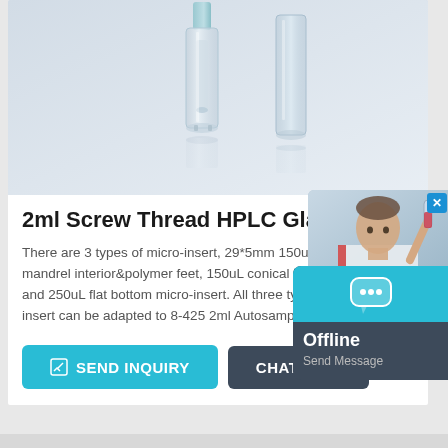[Figure (photo): Product photo of 2ml HPLC glass vials with micro-inserts on light gray background]
2ml Screw Thread HPLC Glass Vi...
There are 3 types of micro-insert, 29*5mm 150uL micro... with mandrel interior&polymer feet, 150uL conical bott... insert and 250uL flat bottom micro-insert. All three type... micro-insert can be adapted to 8-425 2ml Autosample...
[Figure (screenshot): Offline chat widget overlay showing a woman in lab coat and 'Offline / Send Message' button]